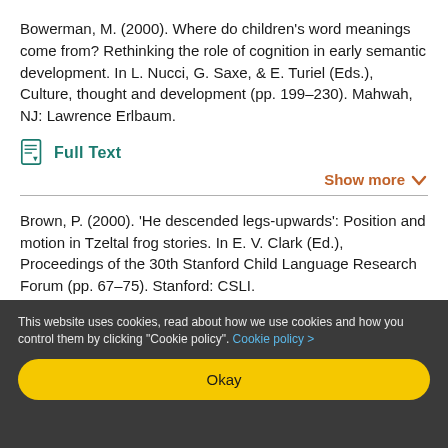Bowerman, M. (2000). Where do children's word meanings come from? Rethinking the role of cognition in early semantic development. In L. Nucci, G. Saxe, & E. Turiel (Eds.), Culture, thought and development (pp. 199–230). Mahwah, NJ: Lawrence Erlbaum.
Full Text
Show more
Brown, P. (2000). 'He descended legs-upwards': Position and motion in Tzeltal frog stories. In E. V. Clark (Ed.), Proceedings of the 30th Stanford Child Language Research Forum (pp. 67–75). Stanford: CSLI.
This website uses cookies, read about how we use cookies and how you control them by clicking "Cookie policy". Cookie policy >
Okay